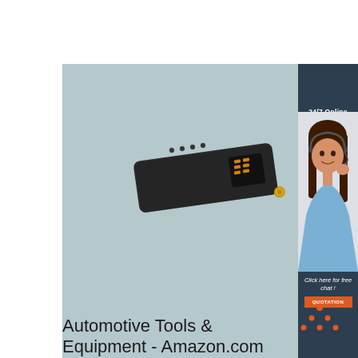[Figure (photo): Light blue-gray background panel with a dark compact automotive tool/inflator device with digital display, gold connector port, and LED indicators on top]
[Figure (photo): Customer service agent woman with headset smiling, overlaid with dark blue sidebar showing '24/7 Online' text, 'Click here for free chat!' text, and orange QUOTATION button]
[Figure (logo): Orange and dark 'TOP' logo with dotted triangle/arrow above text]
Automotive Tools & Equipment - Amazon.com